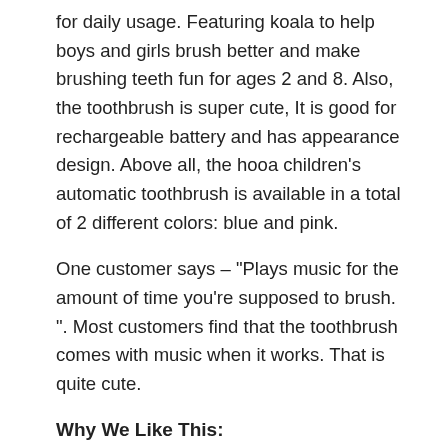for daily usage. Featuring koala to help boys and girls brush better and make brushing teeth fun for ages 2 and 8. Also, the toothbrush is super cute, It is good for rechargeable battery and has appearance design. Above all, the hooa children’s automatic toothbrush is available in a total of 2 different colors: blue and pink.
One customer says – “Plays music for the amount of time you’re supposed to brush.”. Most customers find that the toothbrush comes with music when it works. That is quite cute.
Why We Like This:
Rechargeable battery: keep humming for up to 20 days.
Full mouth toothbrush  u shape brush head helps kid clean hard to reach spaces.